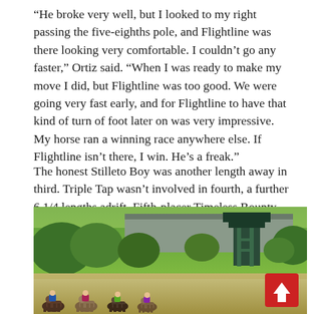“He broke very well, but I looked to my right passing the five-eighths pole, and Flightline was there looking very comfortable. I couldn’t go any faster,” Ortiz said. “When I was ready to make my move I did, but Flightline was too good. We were going very fast early, and for Flightline to have that kind of turn of foot later on was very impressive. My horse ran a winning race anywhere else. If Flightline isn’t there, I win. He’s a freak.”
The honest Stilleto Boy was another length away in third. Triple Tap wasn’t involved in fourth, a further 6 1/4 lengths adrift. Fifth-placer Timeless Bounty edged Team Merchants, and Dr. Schivel was a subpar last after his troubled start.
[Figure (photo): Horse race in progress at a racetrack, with horses and jockeys visible at the bottom of the frame. A steel viewing tower/structure is visible in the middle distance, with a large building behind it. Green trees fill the background under a bright sky. A red scroll-to-top button appears in the lower right corner.]